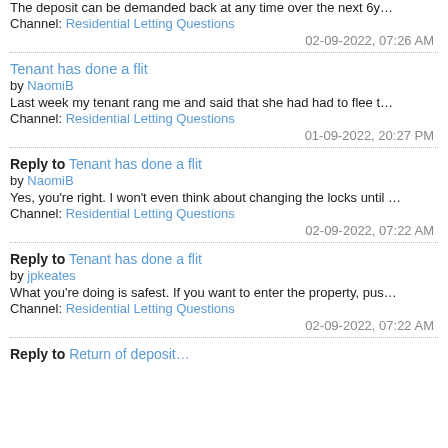The deposit can be demanded back at any time over the next 6y…
Channel: Residential Letting Questions
02-09-2022, 07:26 AM
Tenant has done a flit
by NaomiB
Last week my tenant rang me and said that she had had to flee t…
Channel: Residential Letting Questions
01-09-2022, 20:27 PM
Reply to Tenant has done a flit
by NaomiB
Yes, you're right. I won't even think about changing the locks until …
Channel: Residential Letting Questions
02-09-2022, 07:22 AM
Reply to Tenant has done a flit
by jpkeates
What you're doing is safest. If you want to enter the property, pus…
Channel: Residential Letting Questions
02-09-2022, 07:22 AM
Reply to Return of deposit…